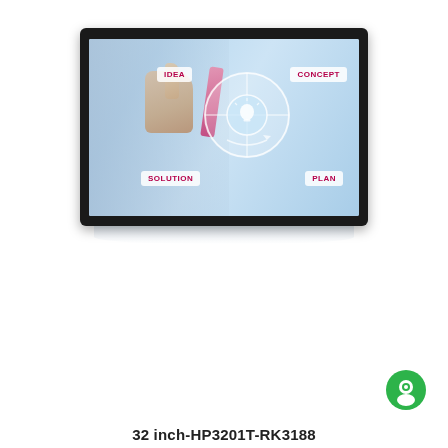[Figure (photo): A 32-inch touchscreen monitor/display showing a business concept graphic with a person pointing at a circular diagram. The screen displays four labeled boxes: IDEA (top left), CONCEPT (top right), SOLUTION (bottom left), PLAN (bottom right), with a light bulb circle in the center. The monitor has a black bezel with a subtle reflection below.]
32 inch-HP3201T-RK3188